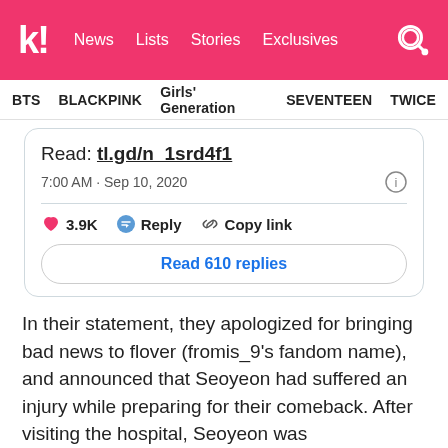k! News Lists Stories Exclusives
BTS BLACKPINK Girls' Generation SEVENTEEN TWICE
[Figure (screenshot): Embedded tweet card showing: 'Read: tl.gd/n_1srd4f1', timestamp '7:00 AM · Sep 10, 2020', 3.9K likes, Reply, Copy link actions, and 'Read 610 replies' button]
In their statement, they apologized for bringing bad news to flover (fromis_9's fandom name), and announced that Seoyeon had suffered an injury while preparing for their comeback. After visiting the hospital, Seoyeon was recommended sufficient rest to make a full recovery, and would therefore be sitting out